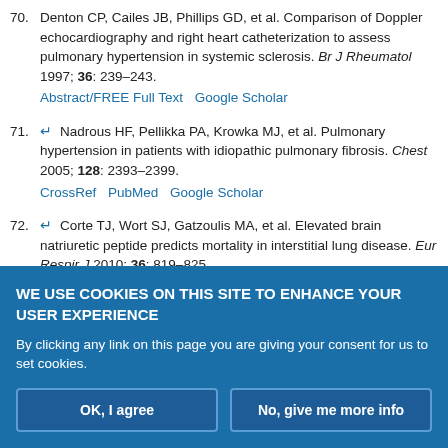70. Denton CP, Cailes JB, Phillips GD, et al. Comparison of Doppler echocardiography and right heart catheterization to assess pulmonary hypertension in systemic sclerosis. Br J Rheumatol 1997; 36: 239–243. Abstract/FREE Full Text  Google Scholar
71. ↵Nadrous HF, Pellikka PA, Krowka MJ, et al. Pulmonary hypertension in patients with idiopathic pulmonary fibrosis. Chest 2005; 128: 2393–2399. CrossRef  PubMed  Google Scholar
72. ↵Corte TJ, Wort SJ, Gatzoulis MA, et al. Elevated brain natriuretic peptide predicts mortality in interstitial lung disease. Eur Respir J 2010; 36: 819–825. Abstract/FREE Full Text  Google Scholar
73. ↵Song JW, Song JK, Kim DS. Echocardiography and brain natriuretic
WE USE COOKIES ON THIS SITE TO ENHANCE YOUR USER EXPERIENCE
By clicking any link on this page you are giving your consent for us to set cookies.